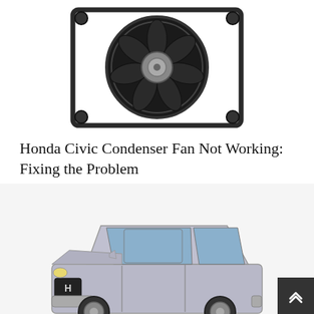[Figure (photo): A black automotive condenser fan assembly with multiple blades and mounting brackets, viewed from the front, on a white background.]
Honda Civic Condenser Fan Not Working: Fixing the Problem
[Figure (photo): A silver Honda Pilot SUV (crossover) photographed from a front three-quarter angle on a white/grey background.]
Honda Pilot Tire Size Chart (2003 – 2022)